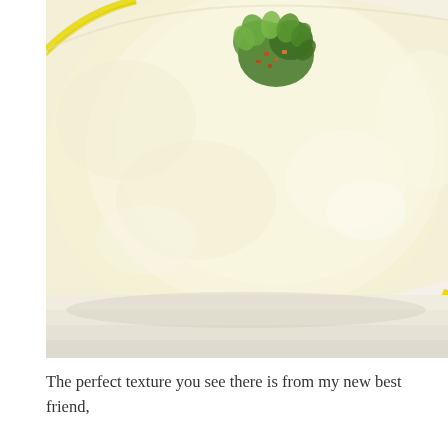[Figure (photo): Close-up overhead photo of a bowl of creamy pale yellow soup garnished with a small cluster of green herb sprouts and chopped colorful toppings in the center. The bowl has a bright yellow rim and sits on a white surface.]
The perfect texture you see there is from my new best friend,